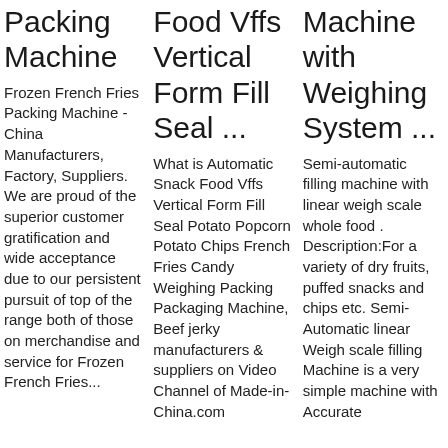Packing Machine
Frozen French Fries Packing Machine - China Manufacturers, Factory, Suppliers. We are proud of the superior customer gratification and wide acceptance due to our persistent pursuit of top of the range both of those on merchandise and service for Frozen French Fries...
Food Vffs Vertical Form Fill Seal ...
What is Automatic Snack Food Vffs Vertical Form Fill Seal Potato Popcorn Potato Chips French Fries Candy Weighing Packing Packaging Machine, Beef jerky manufacturers & suppliers on Video Channel of Made-in-China.com
Machine with Weighing System ...
Semi-automatic filling machine with linear weigh scale whole food . Description:For a variety of dry fruits, puffed snacks and chips etc. Semi-Automatic linear Weigh scale filling Machine is a very simple machine with Accurate